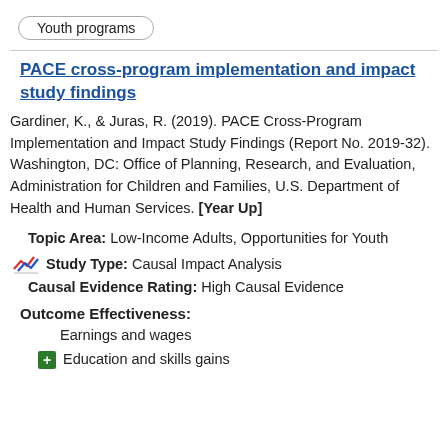Youth programs
PACE cross-program implementation and impact study findings
Gardiner, K., & Juras, R. (2019). PACE Cross-Program Implementation and Impact Study Findings (Report No. 2019-32). Washington, DC: Office of Planning, Research, and Evaluation, Administration for Children and Families, U.S. Department of Health and Human Services. [Year Up]
Topic Area: Low-Income Adults, Opportunities for Youth
Study Type: Causal Impact Analysis
Causal Evidence Rating: High Causal Evidence
Outcome Effectiveness:
Earnings and wages
Education and skills gains